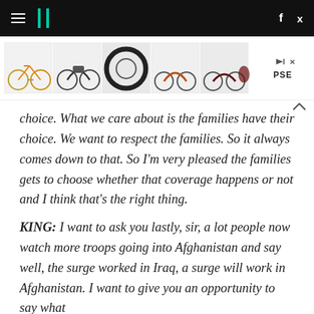HuffPost navigation header with hamburger menu, logo, Facebook and Twitter icons
[Figure (photo): Advertisement banner showing five motorcycle/bicycle images including an orange child's bike, black cruiser, large tire, orange motorcycle, and dark cruiser, with PSE ad label and play/close buttons]
choice. What we care about is the families have their choice. We want to respect the families. So it always comes down to that. So I'm very pleased the families gets to choose whether that coverage happens or not and I think that's the right thing.
KING: I want to ask you lastly, sir, a lot people now watch more troops going into Afghanistan and say well, the surge worked in Iraq, a surge will work in Afghanistan. I want to give you an opportunity to say what